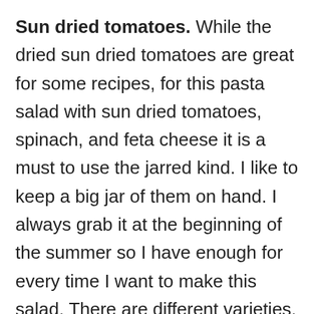Sun dried tomatoes. While the dried sun dried tomatoes are great for some recipes, for this pasta salad with sun dried tomatoes, spinach, and feta cheese it is a must to use the jarred kind. I like to keep a big jar of them on hand. I always grab it at the beginning of the summer so I have enough for every time I want to make this salad. There are different varieties, but I always get the ones in olive oil. You can use any cut of sun dried tomatoes, but I prefer the Julienne Cut sun dried tomatoes when making this pasta salad.